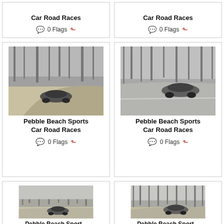[Figure (photo): Top-left card (partial): Pebble Beach Sports Car Road Races - title and 0 Flags meta row visible]
[Figure (photo): Top-right card (partial): Pebble Beach Sports Car Road Races - title and 0 Flags meta row visible]
[Figure (photo): Middle-left card: black and white photo of a sports car on a dirt/sand road with trees, Pebble Beach Sports Car Road Races]
[Figure (photo): Middle-right card: black and white photo of a sports car on a road with trees, Pebble Beach Sports Car Road Races]
[Figure (photo): Bottom-left card (partial): black and white photo of a sports car, Pebble Beach Sports Car Road Races text partially shown]
[Figure (photo): Bottom-right card (partial): black and white photo of a sports car, Pebble Beach Sports Car Road Races text partially shown]